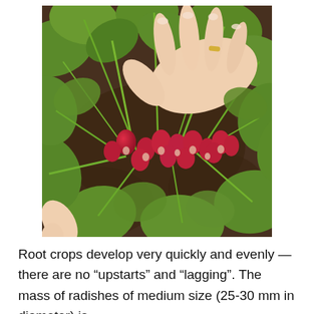[Figure (photo): Overhead photo of hands reaching over a garden bed of radishes growing in dark soil, with green leafy stems and small red/pink radish roots visible among the foliage.]
Root crops develop very quickly and evenly — there are no “upstarts” and “lagging”. The mass of radishes of medium size (25-30 mm in diameter) is